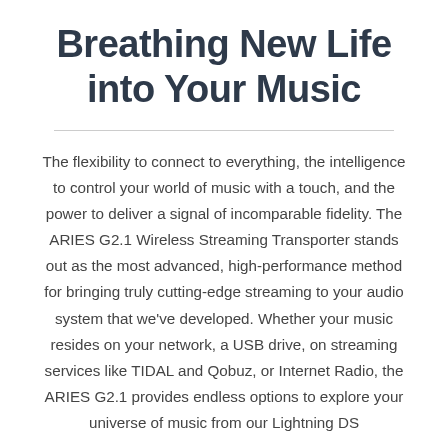Breathing New Life into Your Music
The flexibility to connect to everything, the intelligence to control your world of music with a touch, and the power to deliver a signal of incomparable fidelity. The ARIES G2.1 Wireless Streaming Transporter stands out as the most advanced, high-performance method for bringing truly cutting-edge streaming to your audio system that we've developed. Whether your music resides on your network, a USB drive, on streaming services like TIDAL and Qobuz, or Internet Radio, the ARIES G2.1 provides endless options to explore your universe of music from our Lightning DS